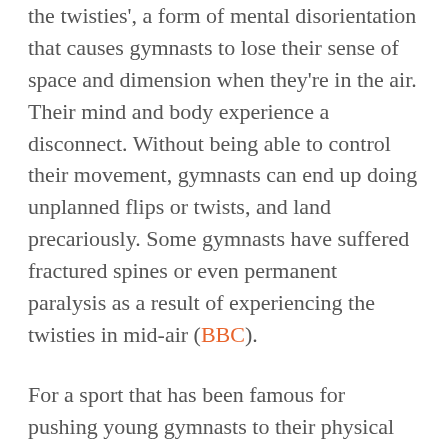the twisties', a form of mental disorientation that causes gymnasts to lose their sense of space and dimension when they're in the air. Their mind and body experience a disconnect. Without being able to control their movement, gymnasts can end up doing unplanned flips or twists, and land precariously. Some gymnasts have suffered fractured spines or even permanent paralysis as a result of experiencing the twisties in mid-air (BBC).
For a sport that has been famous for pushing young gymnasts to their physical limits, and seen many limping, injured gymnasts push through their pain to secure success, Biles' announcement comes as a breath of fresh air. We're simply not used to seeing someone actively prioritise their mental wellness over